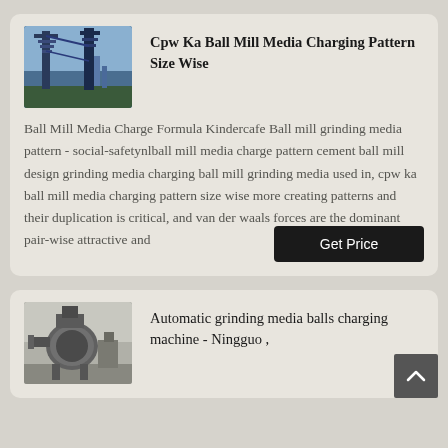[Figure (photo): Industrial blue crane/mill structure against sky]
Cpw Ka Ball Mill Media Charging Pattern Size Wise
Ball Mill Media Charge Formula Kindercafe Ball mill grinding media pattern - social-safetynlball mill media charge pattern cement ball mill design grinding media charging ball mill grinding media used in, cpw ka ball mill media charging pattern size wise more creating patterns and their duplication is critical, and van der waals forces are the dominant pair-wise attractive and
Get Price
[Figure (photo): Industrial grinding machine equipment]
Automatic grinding media balls charging machine - Ningguo ,